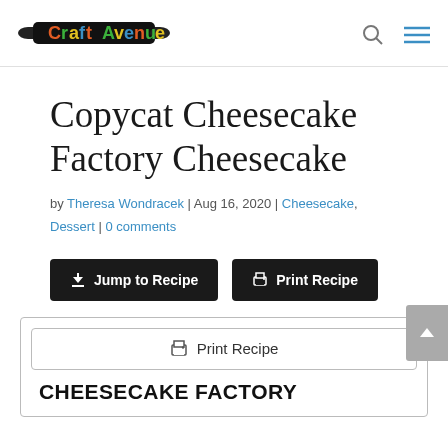[Figure (logo): Craft Avenue logo with rolling pin and colorful text]
Copycat Cheesecake Factory Cheesecake
by Theresa Wondracek | Aug 16, 2020 | Cheesecake, Dessert | 0 comments
[Figure (other): Jump to Recipe button and Print Recipe button]
[Figure (other): Print Recipe button inside recipe card]
CHEESECAKE FACTORY